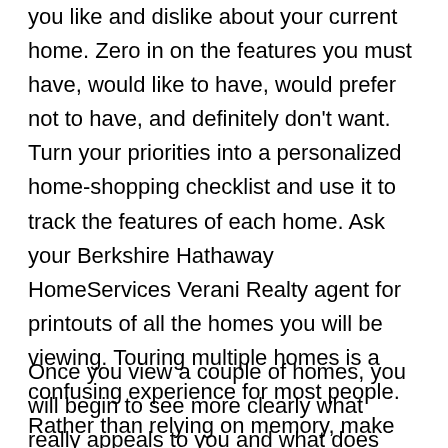you like and dislike about your current home. Zero in on the features you must have, would like to have, would prefer not to have, and definitely don't want. Turn your priorities into a personalized home-shopping checklist and use it to track the features of each home. Ask your Berkshire Hathaway HomeServices Verani Realty agent for printouts of all the homes you will be viewing. Touring multiple homes is a confusing experience for most people. Rather than relying on memory, make notes about the homes you visit.
Once you view a couple of homes, you will begin to see more clearly what really appeals to you and what does not. Finding that perfect home may be